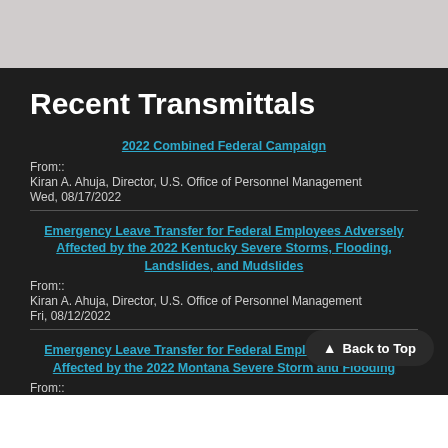Recent Transmittals
2022 Combined Federal Campaign
From::
Kiran A. Ahuja, Director, U.S. Office of Personnel Management
Wed, 08/17/2022
Emergency Leave Transfer for Federal Employees Adversely Affected by the 2022 Kentucky Severe Storms, Flooding, Landslides, and Mudslides
From::
Kiran A. Ahuja, Director, U.S. Office of Personnel Management
Fri, 08/12/2022
Emergency Leave Transfer for Federal Employees Adversely Affected by the 2022 Montana Severe Storm and Flooding
From::